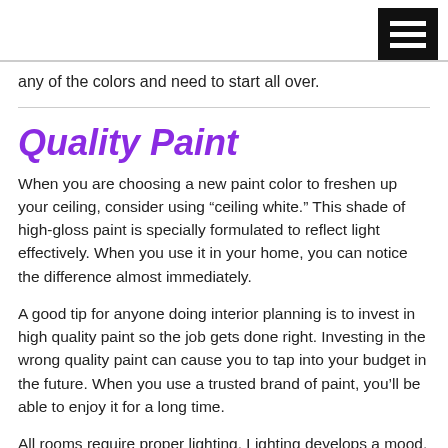any of the colors and need to start all over.
Quality Paint
When you are choosing a new paint color to freshen up your ceiling, consider using “ceiling white.” This shade of high-gloss paint is specially formulated to reflect light effectively. When you use it in your home, you can notice the difference almost immediately.
A good tip for anyone doing interior planning is to invest in high quality paint so the job gets done right. Investing in the wrong quality paint can cause you to tap into your budget in the future. When you use a trusted brand of paint, you’ll be able to enjoy it for a long time.
All rooms require proper lighting. Lighting develops a mood. For example, guest bathrooms and kitchens